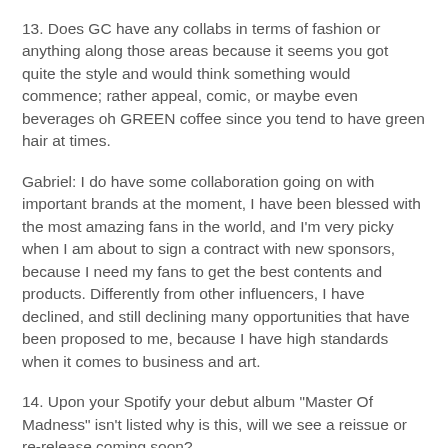13. Does GC have any collabs in terms of fashion or anything along those areas because it seems you got quite the style and would think something would commence; rather appeal, comic, or maybe even beverages oh GREEN coffee since you tend to have green hair at times.
Gabriel: I do have some collaboration going on with important brands at the moment, I have been blessed with the most amazing fans in the world, and I'm very picky when I am about to sign a contract with new sponsors, because I need my fans to get the best contents and products. Differently from other influencers, I have declined, and still declining many opportunities that have been proposed to me, because I have high standards when it comes to business and art.
14. Upon your Spotify your debut album "Master Of Madness" isn't listed why is this, will we see a reissue or re-release coming soon?
Gabriel: That's true, my old music productions have been